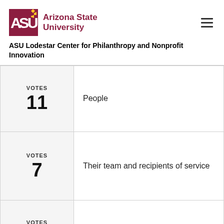[Figure (logo): ASU (Arizona State University) logo with sunburst icon and text]
ASU Lodestar Center for Philanthropy and Nonprofit Innovation
| VOTES | Answer |
| --- | --- |
| 11 | People |
| 7 | Their team and recipients of service |
| 3 | Relationships |
| VOTES | Inspiring people |